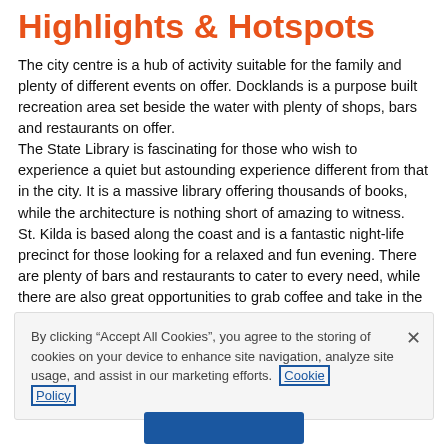Highlights & Hotspots
The city centre is a hub of activity suitable for the family and plenty of different events on offer. Docklands is a purpose built recreation area set beside the water with plenty of shops, bars and restaurants on offer.
The State Library is fascinating for those who wish to experience a quiet but astounding experience different from that in the city. It is a massive library offering thousands of books, while the architecture is nothing short of amazing to witness.
St. Kilda is based along the coast and is a fantastic night-life precinct for those looking for a relaxed and fun evening. There are plenty of bars and restaurants to cater to every need, while there are also great opportunities to grab coffee and take in the view.
Fitzroy and Collingwood are fantastic for those looking for a
By clicking “Accept All Cookies”, you agree to the storing of cookies on your device to enhance site navigation, analyze site usage, and assist in our marketing efforts. Cookie Policy